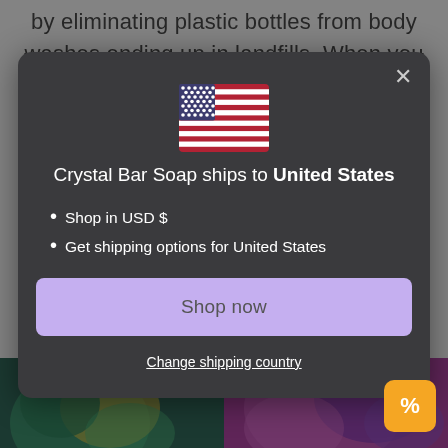by eliminating plastic bottles from body washes ending up in landfills. When you
[Figure (screenshot): Modal dialog on a dark overlay showing Crystal Bar Soap shipping information for United States, with USD currency, shop now button, and change shipping country link. US flag emoji displayed at top of modal.]
Crystal Bar Soap ships to United States
Shop in USD $
Get shipping options for United States
Shop now
Change shipping country